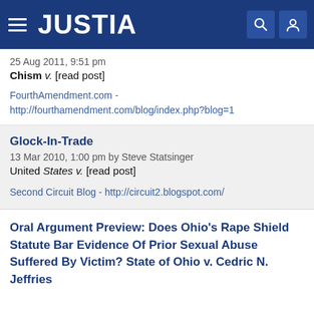JUSTIA
25 Aug 2011, 9:51 pm
Chism v. [read post]
FourthAmendment.com - http://fourthamendment.com/blog/index.php?blog=1
Glock-In-Trade
13 Mar 2010, 1:00 pm by Steve Statsinger
United States v. [read post]
Second Circuit Blog - http://circuit2.blogspot.com/
Oral Argument Preview: Does Ohio's Rape Shield Statute Bar Evidence Of Prior Sexual Abuse Suffered By Victim? State of Ohio v. Cedric N. Jeffries